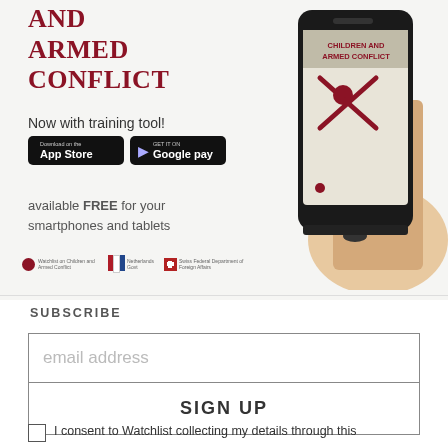AND ARMED CONFLICT
[Figure (illustration): Hand holding a smartphone displaying 'Children and Armed Conflict' app with a logo of a child with a crossed-out gun]
Now with training tool!
[Figure (logo): App Store and Google Play download badges]
available FREE for your smartphones and tablets
[Figure (logo): Organization logos row: Watchlist, Netherlands flag, Swiss cross flag with accompanying text]
SUBSCRIBE
email address
SIGN UP
I consent to Watchlist collecting my details through this